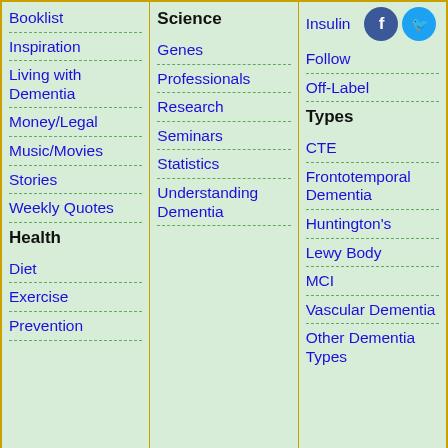Booklist
Inspiration
Living with Dementia
Money/Legal
Music/Movies
Stories
Weekly Quotes
Health
Diet
Exercise
Prevention
Science
Genes
Professionals
Research
Seminars
Statistics
Understanding Dementia
Insulin
Follow
Off-Label
Types
CTE
Frontotemporal Dementia
Huntington's
Lewy Body
MCI
Vascular Dementia
Other Dementia Types
[Figure (screenshot): Search bar with text input and green SEARCH button]
[Figure (infographic): Social share bar with Facebook (blue), Twitter (light blue), Email (gray), and More (orange-red) buttons]